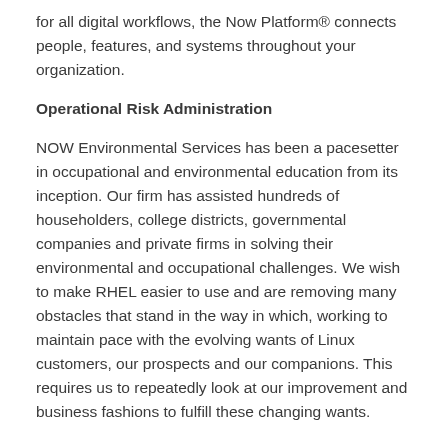for all digital workflows, the Now Platform® connects people, features, and systems throughout your organization.
Operational Risk Administration
NOW Environmental Services has been a pacesetter in occupational and environmental education from its inception. Our firm has assisted hundreds of householders, college districts, governmental companies and private firms in solving their environmental and occupational challenges. We wish to make RHEL easier to use and are removing many obstacles that stand in the way in which, working to maintain pace with the evolving wants of Linux customers, our prospects and our companions. This requires us to repeatedly look at our improvement and business fashions to fulfill these changing wants.
It Asset Administration
Use insights and automation to predict issues, cut back